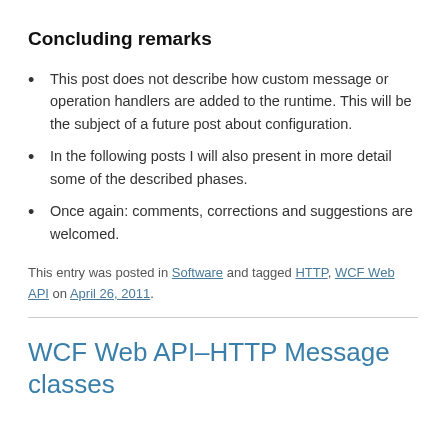Concluding remarks
This post does not describe how custom message or operation handlers are added to the runtime. This will be the subject of a future post about configuration.
In the following posts I will also present in more detail some of the described phases.
Once again: comments, corrections and suggestions are welcomed.
This entry was posted in Software and tagged HTTP, WCF Web API on April 26, 2011.
WCF Web API–HTTP Message classes